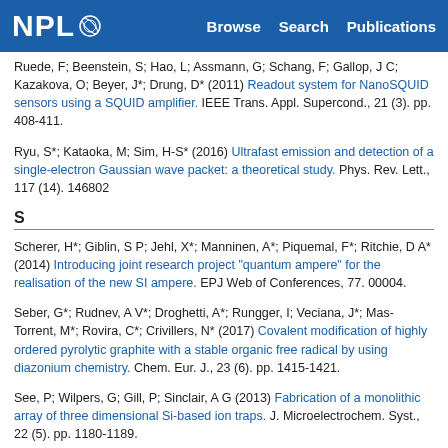NPL | Browse Search Publications
Ruede, F; Beenstein, S; Hao, L; Assmann, G; Schang, F; Gallop, J C; Kazakova, O; Beyer, J*; Drung, D* (2011) Readout system for NanoSQUID sensors using a SQUID amplifier. IEEE Trans. Appl. Supercond., 21 (3). pp. 408-411.
Ryu, S*; Kataoka, M; Sim, H-S* (2016) Ultrafast emission and detection of a single-electron Gaussian wave packet: a theoretical study. Phys. Rev. Lett., 117 (14). 146802
S
Scherer, H*; Giblin, S P; Jehl, X*; Manninen, A*; Piquemal, F*; Ritchie, D A* (2014) Introducing joint research project "quantum ampere" for the realisation of the new SI ampere. EPJ Web of Conferences, 77. 00004.
Seber, G*; Rudnev, A V*; Droghetti, A*; Rungger, I; Veciana, J*; Mas-Torrent, M*; Rovira, C*; Crivillers, N* (2017) Covalent modification of highly ordered pyrolytic graphite with a stable organic free radical by using diazonium chemistry. Chem. Eur. J., 23 (6). pp. 1415-1421.
See, P; Wilpers, G; Gill, P; Sinclair, A G (2013) Fabrication of a monolithic array of three dimensional Si-based ion traps. J. Microelectrochem. Syst., 22 (5). pp. 1180-1189.